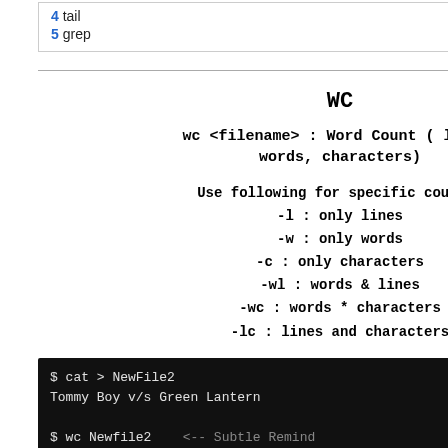4 tail
5 grep
WC
wc <filename>  : Word Count ( lines, words, characters)
Use following for specific counts,
-l : only lines
-w : only words
-c : only characters
-wl : words & lines
-wc : words * characters
-lc : lines and characters
$ cat > NewFile2
Tommy Boy v/s Green Lantern

$ wc Newfile2    <-- Subtle Remind...
wc: cannot open Newfile2: No su...

$ wc NewFile2
My Projects
My Presentations
My Presentations II
Project Files